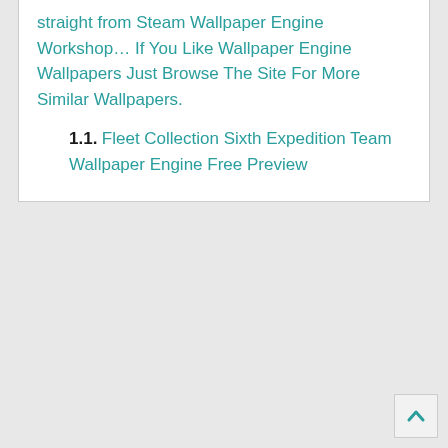straight from Steam Wallpaper Engine Workshop… If You Like Wallpaper Engine Wallpapers Just Browse The Site For More Similar Wallpapers.
1.1. Fleet Collection Sixth Expedition Team Wallpaper Engine Free Preview